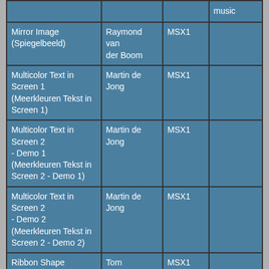| Title | Author | Generation | Soundchips |
| --- | --- | --- | --- |
|  |  |  | music |
| Mirror Image (Spiegelbeeld) | Raymond van der Boom | MSX1 |  |
| Multicolor Text in Screen 1 (Meerkleuren Tekst in Screen 1) | Martin de Jong | MSX1 |  |
| Multicolor Text in Screen 2 - Demo 1 (Meerkleuren Tekst in Screen 2 - Demo 1) | Martin de Jong | MSX1 |  |
| Multicolor Text in Screen 2 - Demo 2 (Meerkleuren Tekst in Screen 2 - Demo 2) | Martin de Jong | MSX1 |  |
| Ribbon Shape (Lintvorm) | Tom Gerritsen | MSX1 |  |
Games
| Title | Author | Generation | Soundchips |
| --- | --- | --- | --- |
| Ball Game (Balspel) | Jan Bodzinga | MSX1 | PSG |